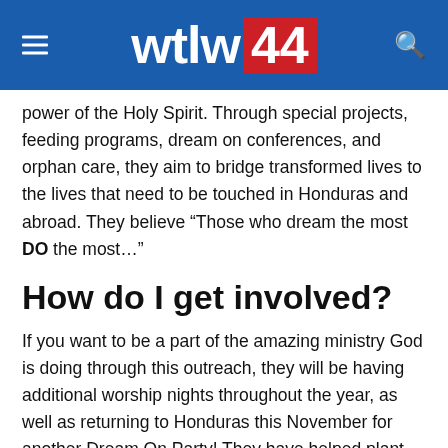wtlw 44
power of the Holy Spirit. Through special projects, feeding programs, dream on conferences, and orphan care, they aim to bridge transformed lives to the lives that need to be touched in Honduras and abroad. They believe “Those who dream the most DO the most…”
How do I get involved?
If you want to be a part of the amazing ministry God is doing through this outreach, they will be having additional worship nights throughout the year, as well as returning to Honduras this November for another Dream On Party! They have helped plant churches and feeding programs with this amazing event! Spaces are limited so if you want to don’t hesitate to join! To reserve your spot please go to